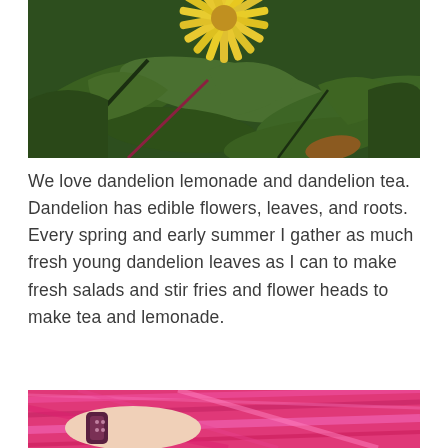[Figure (photo): Close-up photo of a yellow daisy-like flower (dandelion) with dark green leaves in the background, partially visible from the top of the frame.]
We love dandelion lemonade and dandelion tea.  Dandelion has edible flowers, leaves, and roots.   Every spring and early summer I gather as much fresh young dandelion leaves as I can to make fresh salads and stir fries and flower heads to make tea and lemonade.
[Figure (photo): Close-up photo of a person's arm wearing a dark bracelet/watch against a bright pink background (possibly pink fabric or hair).]